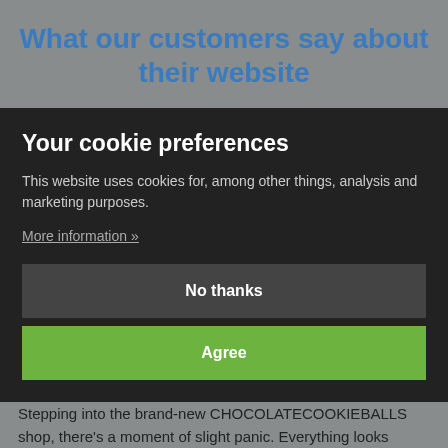What our customers say about their website
Your cookie preferences
This website uses cookies for, among other things, analysis and marketing purposes.
More information »
No thanks
Agree
CHOCOLATECOOKIEBALLS
Stepping into the brand-new CHOCOLATECOOKIEBALLS shop, there's a moment of slight panic. Everything looks